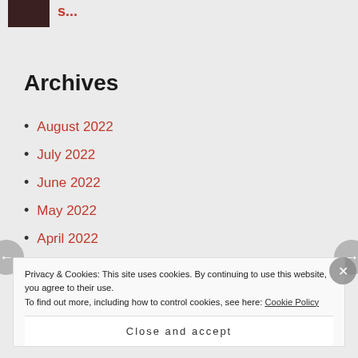[Figure (photo): Small thumbnail image, dark reddish tones, partially visible]
s...
Archives
August 2022
July 2022
June 2022
May 2022
April 2022
March 2022
February 2022
Privacy & Cookies: This site uses cookies. By continuing to use this website, you agree to their use.
To find out more, including how to control cookies, see here: Cookie Policy
Close and accept